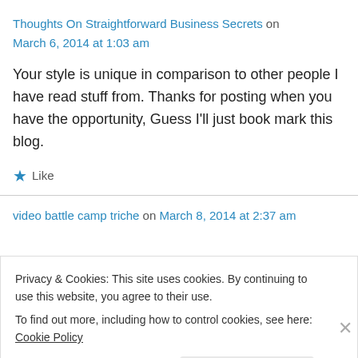Thoughts On Straightforward Business Secrets on March 6, 2014 at 1:03 am
Your style is unique in comparison to other people I have read stuff from. Thanks for posting when you have the opportunity, Guess I'll just book mark this blog.
★ Like
video battle camp triche on March 8, 2014 at 2:37 am
Privacy & Cookies: This site uses cookies. By continuing to use this website, you agree to their use.
To find out more, including how to control cookies, see here: Cookie Policy
Close and accept